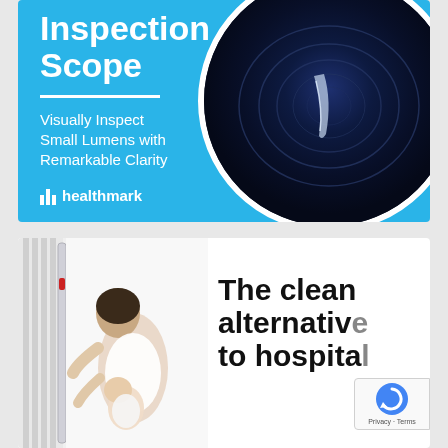[Figure (illustration): Healthmark Inspection Scope advertisement with blue background. Left side shows bold white text 'Inspection Scope' with a white horizontal divider, subtitle 'Visually Inspect Small Lumens with Remarkable Clarity', and healthmark logo/brand name. Right side shows a circular image of a scope looking into a lumen with concentric rings, and a handheld scope device above.]
[Figure (photo): Advertisement showing a mother and baby on a white hospital/home bed viewed from above. Right side shows partial bold black text 'The clean alternative to hospita...' A reCAPTCHA badge with Privacy - Terms appears in the bottom right corner.]